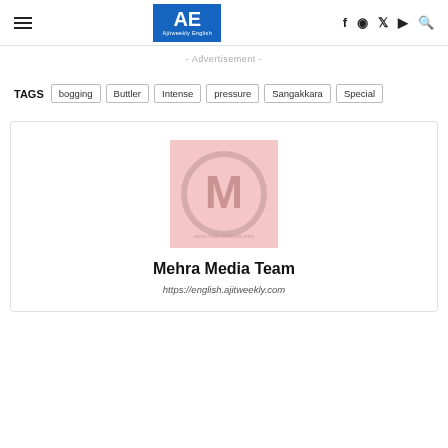AE Ajitweekly English — navigation header with hamburger menu and social icons
- Advertisement -
TAGS  bogging  Buttler  Intense  pressure  Sangakkara  Special
[Figure (logo): Mehra Media Team logo: circular M symbol on pink/red background with watermark text www.MehraMedia.com]
Mehra Media Team
https://english.ajitweekly.com